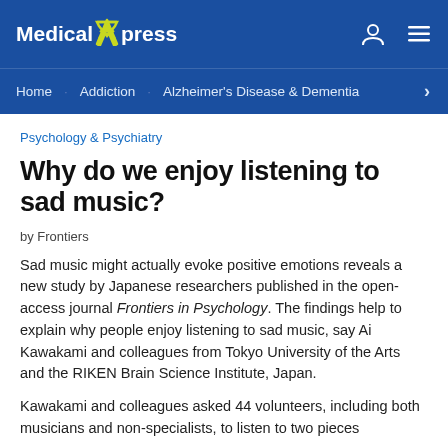Medical Xpress
Home | Addiction | Alzheimer's Disease & Dementia >
Psychology & Psychiatry
Why do we enjoy listening to sad music?
by Frontiers
Sad music might actually evoke positive emotions reveals a new study by Japanese researchers published in the open-access journal Frontiers in Psychology. The findings help to explain why people enjoy listening to sad music, say Ai Kawakami and colleagues from Tokyo University of the Arts and the RIKEN Brain Science Institute, Japan.
Kawakami and colleagues asked 44 volunteers, including both musicians and non-specialists, to listen to two pieces...